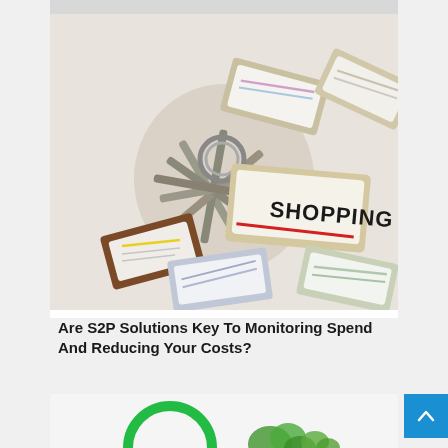[Figure (photo): A bunch of keys with labeled keychains/tags, including one that reads 'SHOPPING', spread out on a white surface. The tags are various shapes with colorful labels.]
Are S2P Solutions Key To Monitoring Spend And Reducing Your Costs?
[Figure (photo): Partial view of a green circular shape and green herbs/parsley on a white background.]